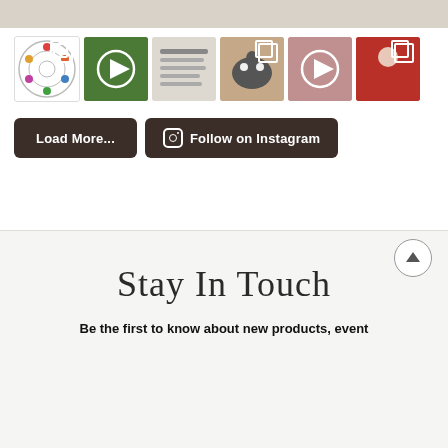[Figure (screenshot): Top decorative banner with muted beige/grey texture]
[Figure (screenshot): Row of 6 Instagram thumbnail images with play and multi-post icons]
Load More...
Follow on Instagram
Stay In Touch
Be the first to know about new products, event